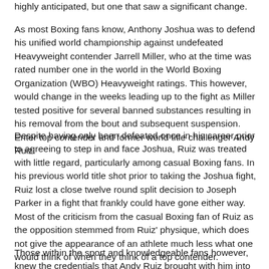highly anticipated, but one that saw a significant change.
As most Boxing fans know, Anthony Joshua was to defend his unified world championship against undefeated Heavyweight contender Jarrell Miller, who at the time was rated number one in the world in the World Boxing Organization (WBO) Heavyweight ratings. This however, would change in the weeks leading up to the fight as Miller tested positive for several banned substances resulting in his removal from the bout and subsequent suspension. Enter top contender and former world title challenger Andy Ruiz.
Despite having only been defeated once in his career prior to agreeing to step in and face Joshua, Ruiz was treated with little regard, particularly among casual Boxing fans. In his previous world title shot prior to taking the Joshua fight, Ruiz lost a close twelve round split decision to Joseph Parker in a fight that frankly could have gone either way. Most of the criticism from the casual Boxing fan of Ruiz as the opposition stemmed from Ruiz' physique, which does not give the appearance of an athlete much less what one would think of when they think of a top contender.
Those within the sport and knowledgeable fans however, knew the credentials that Andy Ruiz brought with him into the ring and